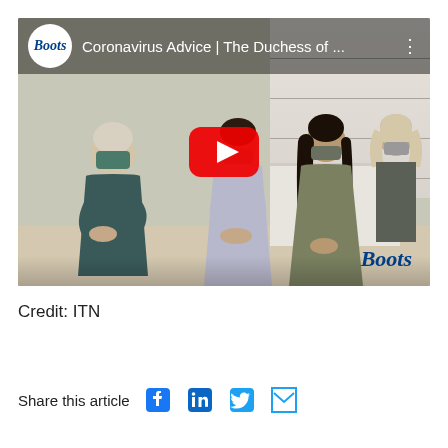[Figure (screenshot): YouTube video thumbnail showing Coronavirus Advice video from Boots featuring The Duchess of Cornwall. Shows several women wearing face masks in a Boots pharmacy, with a YouTube play button overlay. The Boots logo appears in a circle top-left and the video title reads 'Coronavirus Advice | The Duchess of ...' with a three-dot menu icon.]
Credit: ITN
Share this article